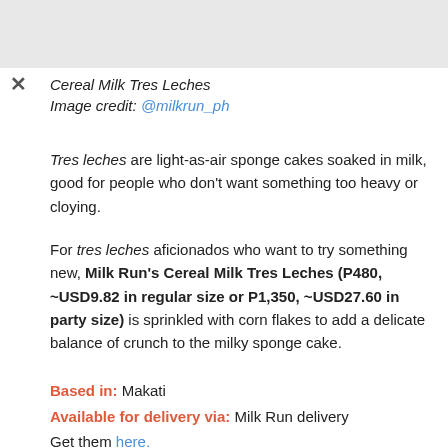Cereal Milk Tres Leches
Image credit: @milkrun_ph
Tres leches are light-as-air sponge cakes soaked in milk, good for people who don't want something too heavy or cloying.
For tres leches aficionados who want to try something new, Milk Run's Cereal Milk Tres Leches (P480, ~USD9.82 in regular size or P1,350, ~USD27.60 in party size) is sprinkled with corn flakes to add a delicate balance of crunch to the milky sponge cake.
Based in: Makati
Available for delivery via: Milk Run delivery
Get them here.